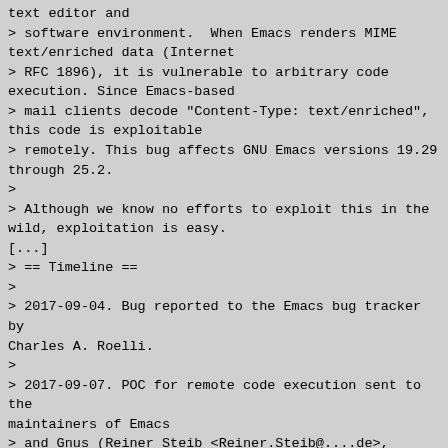text editor and
> software environment.  When Emacs renders MIME
text/enriched data (Internet
> RFC 1896), it is vulnerable to arbitrary code
execution. Since Emacs-based
> mail clients decode "Content-Type: text/enriched",
this code is exploitable
> remotely. This bug affects GNU Emacs versions 19.29
through 25.2.
>
> Although we know no efforts to exploit this in the
wild, exploitation is easy.
[...]
> == Timeline ==
>
> 2017-09-04. Bug reported to the Emacs bug tracker by
Charles A. Roelli.
>
> 2017-09-07. POC for remote code execution sent to the
maintainers of Emacs
> and Gnus (Reiner Steib <Reiner.Steib@....de>, private
mail).
>
> 2017-09-08. Patch (by Lars Ingebrigtsen
<larsi@...s.org>) to disable the
> problematic code and mitigation (private mail).
>
> 2017-09-09. Patch committed in main development
repository.

Ho             by CVE fo  thi  i  ?